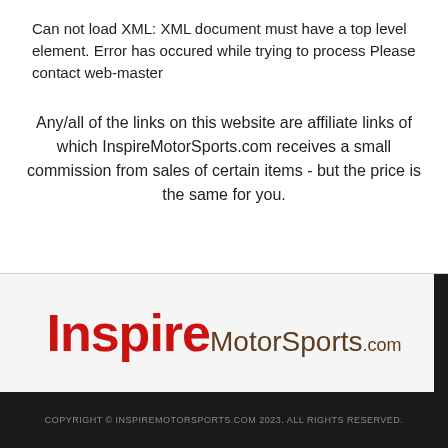Can not load XML: XML document must have a top level element. Error has occured while trying to process Please contact web-master
Any/all of the links on this website are affiliate links of which InspireMotorSports.com receives a small commission from sales of certain items - but the price is the same for you.
[Figure (logo): InspireMotorSports.com logo with 'Inspire' in bold red and 'MotorSports.com' in dark brown/tan]
COPYRIGHT © INSPIREMOTORSPORTS.COM 2023. ALL RIGHTS RESERVED.